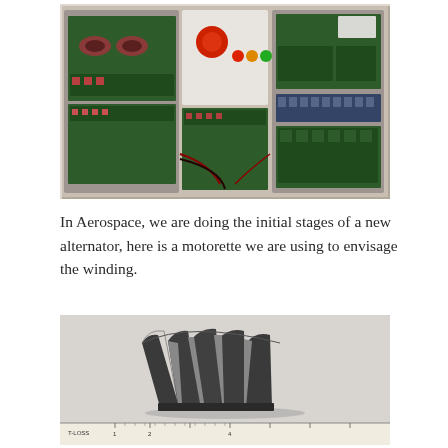[Figure (photo): Overhead view of an open electrical enclosure containing multiple PCBs with electronic components, transformers/inductors (red and green coils), a control panel with red emergency stop button and colored indicator lights, and wiring.]
In Aerospace, we are doing the initial stages of a new alternator, here is a motorette we are using to envisage the winding.
[Figure (photo): A motorette component showing multiple dark grey curved/trapezoidal stator teeth or lamination segments arranged in a fan shape, placed on a light grey surface with a ruler visible at the bottom.]